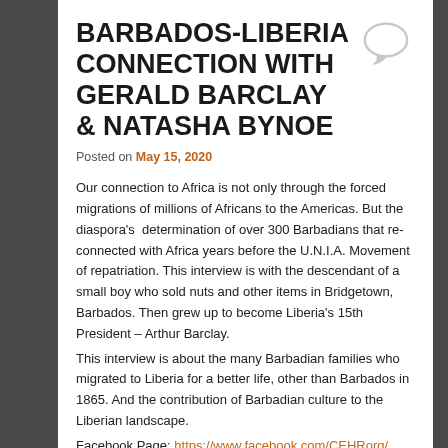BARBADOS-LIBERIA CONNECTION WITH GERALD BARCLAY & NATASHA BYNOE
Posted on May 15, 2020
Our connection to Africa is not only through the forced migrations of millions of Africans to the Americas. But the diaspora's  determination of over 300 Barbadians that re-connected with Africa years before the U.N.I.A. Movement of repatriation. This interview is with the descendant of a small boy who sold nuts and other items in Bridgetown, Barbados. Then grew up to become Liberia's 15th President – Arthur Barclay. This interview is about the many Barbadian families who migrated to Liberia for a better life, other than Barbados in 1865. And the contribution of Barbadian culture to the Liberian landscape.
Facebook Page: https://www.facebook.com/CEHRorg/